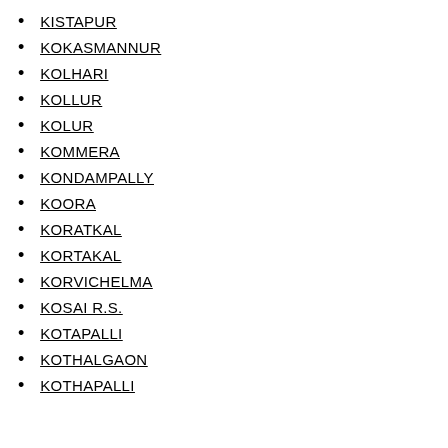KISTAPUR
KOKASMANNUR
KOLHARI
KOLLUR
KOLUR
KOMMERA
KONDAMPALLY
KOORA
KORATKAL
KORTAKAL
KORVICHELMA
KOSAI R.S.
KOTAPALLI
KOTHALGAON
KOTHAPALLI